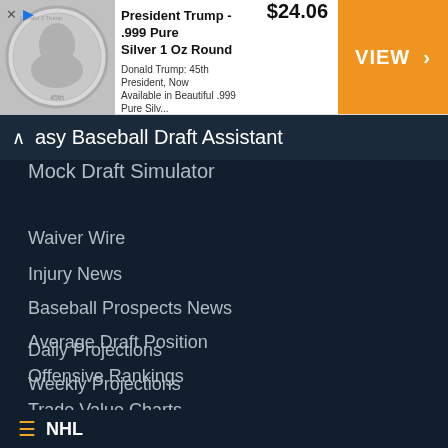[Figure (infographic): Advertisement banner for President Trump .999 Pure Silver 1 Oz Round coin. Shows a silver coin with Trump's profile, price $24.06, and orange VIEW button. Source: Money Metals Exchange.]
Fantasy Baseball Draft Assistant
Mock Draft Simulator
Waiver Wire
Injury News
Baseball Prospects News
Average Draft Position
Offensive Rankings
Trade Value Charts
Daily Projections
Weekly Projections
NHL